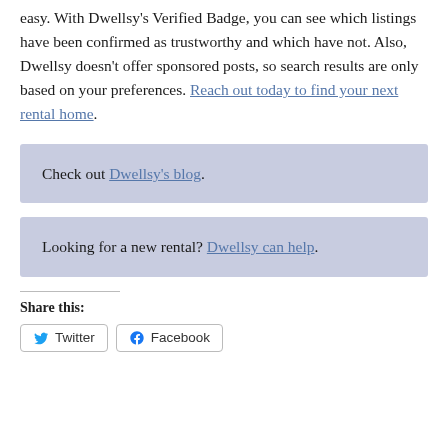easy. With Dwellsy's Verified Badge, you can see which listings have been confirmed as trustworthy and which have not. Also, Dwellsy doesn't offer sponsored posts, so search results are only based on your preferences. Reach out today to find your next rental home.
Check out Dwellsy's blog.
Looking for a new rental? Dwellsy can help.
Share this: